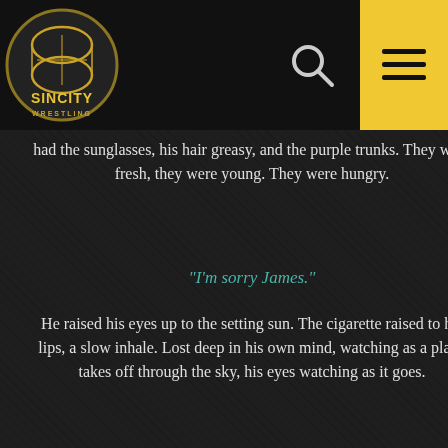[Figure (logo): Sin City Wrestling logo — circular badge with gold/black color scheme, wrestling ring graphic in center, 'SINCITY' text in gold, 'WRESTLING' below in smaller text]
had the sunglasses, his hair greasy, and the purple trunks. They were fresh, they were young. They were hungry.
“I’m sorry James.”
He raised his eyes up to the setting sun. The cigarette raised to his lips, a slow inhale. Lost deep in his own mind, watching as a plane takes off through the sky, his eyes watching as it goes.
“I can’t come back. Not yet.”
Another deep inhale, settling back into his chair, eyes closing slowly. Slowed breathing, the cigarette going limp on his lips. The world going dark, and the darkness